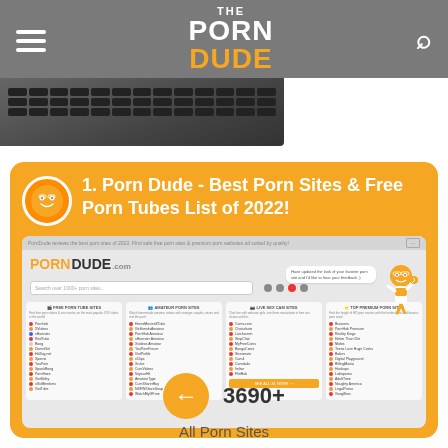The Porn Dude
[Figure (screenshot): Screenshot of PornDude.com website showing logo, search bar, and categorized lists of porn sites including Free Porn Tube Sites, Amateur Porn Sites, Live Sex Cam Sites, and Top Premium Porn Sites]
1. Porn Dude - Best Porn Sites & Free Porn Tubes List of 2022!
3690+
All Porn Sites